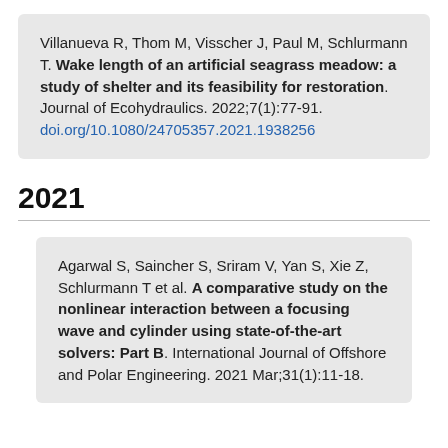Villanueva R, Thom M, Visscher J, Paul M, Schlurmann T. Wake length of an artificial seagrass meadow: a study of shelter and its feasibility for restoration. Journal of Ecohydraulics. 2022;7(1):77-91. doi.org/10.1080/24705357.2021.1938256
2021
Agarwal S, Saincher S, Sriram V, Yan S, Xie Z, Schlurmann T et al. A comparative study on the nonlinear interaction between a focusing wave and cylinder using state-of-the-art solvers: Part B. International Journal of Offshore and Polar Engineering. 2021 Mar;31(1):11-18.